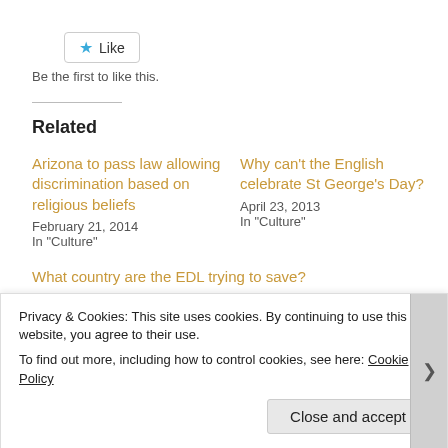[Figure (other): Like button with star icon]
Be the first to like this.
Related
Arizona to pass law allowing discrimination based on religious beliefs
February 21, 2014
In "Culture"
Why can’t the English celebrate St George’s Day?
April 23, 2013
In "Culture"
What country are the EDL trying to save?
Privacy & Cookies: This site uses cookies. By continuing to use this website, you agree to their use.
To find out more, including how to control cookies, see here: Cookie Policy
Close and accept